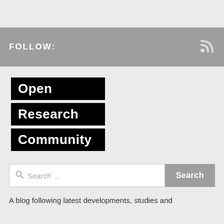FOLLOW:
[Figure (logo): Open Research Community logo — three black rectangular banners with white bold text reading 'Open', 'Research', 'Community']
Search …
A blog following latest developments, studies and